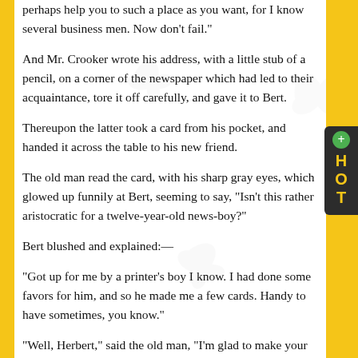perhaps help you to such a place as you want, for I know several business men. Now don't fail."
And Mr. Crooker wrote his address, with a little stub of a pencil, on a corner of the newspaper which had led to their acquaintance, tore it off carefully, and gave it to Bert.
Thereupon the latter took a card from his pocket, and handed it across the table to his new friend.
The old man read the card, with his sharp gray eyes, which glowed up funnily at Bert, seeming to say, "Isn't this rather aristocratic for a twelve-year-old news-boy?"
Bert blushed and explained:—
"Got up for me by a printer's boy I know. I had done some favors for him, and so he made me a few cards. Handy to have sometimes, you know."
"Well, Herbert," said the old man, "I'm glad to make your acquaintance, and I hope you'll come and see me. You'll find me in very humble quarters; but you are not aristocratic, you say. Now won't you let me pay for my dinner? I believe I have money enough. Let me see." And he put his hand in his pocket.